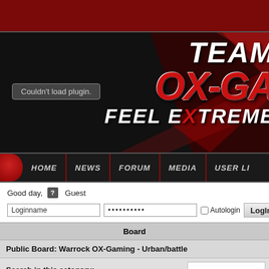[Figure (screenshot): Dark red top bar and gaming website banner with 'TEAM OX-GA...' logo, 'FEEL EXTREME...' tagline, and 'Couldn't load plugin.' plugin message on black background with red diagonal graphics]
[Figure (screenshot): Navigation bar with HOME, NEWS, FORUM, MEDIA, USER LI... menu items on dark background with red orb on left]
Good day, [?] Guest
Loginname | ......... | Autologin | LogIn!
| Board |
| --- |
| Public Board: Warrock OX-Gaming - Urban/battle |
| Search in this category: |
| Threads |
| Thread | Author |